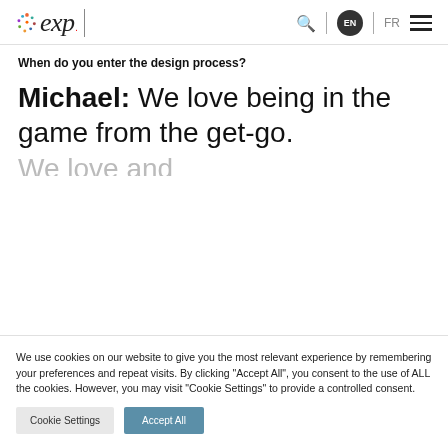exp. EN FR
outcome.
When do you enter the design process?
Michael: We love being in the game from the get-go.
We use cookies on our website to give you the most relevant experience by remembering your preferences and repeat visits. By clicking "Accept All", you consent to the use of ALL the cookies. However, you may visit "Cookie Settings" to provide a controlled consent.